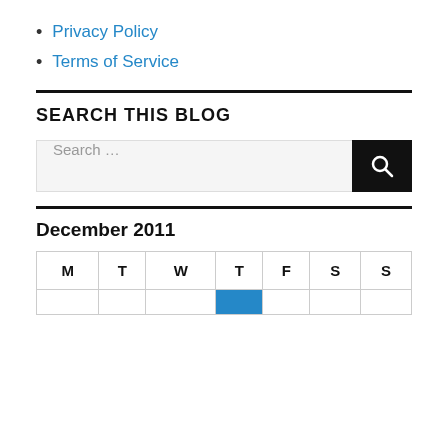Privacy Policy
Terms of Service
SEARCH THIS BLOG
Search ...
December 2011
| M | T | W | T | F | S | S |
| --- | --- | --- | --- | --- | --- | --- |
|  |  |  |  |  |  |  |